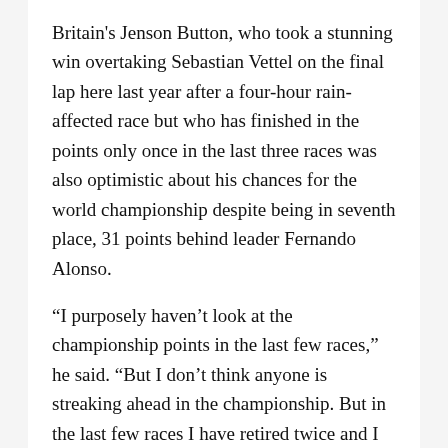Britain's Jenson Button, who took a stunning win overtaking Sebastian Vettel on the final lap here last year after a four-hour rain-affected race but who has finished in the points only once in the last three races was also optimistic about his chances for the world championship despite being in seventh place, 31 points behind leader Fernando Alonso.
“I purposely haven’t look at the championship points in the last few races,” he said. “But I don’t think anyone is streaking ahead in the championship. But in the last few races I have retired twice and I have scored two points in the other one. They haven’t been my finest weekends so I need to score some good points here this